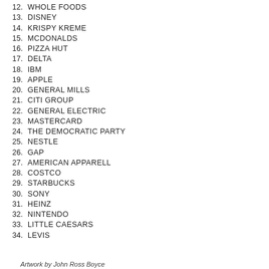12. WHOLE FOODS
13. DISNEY
14. KRISPY KREME
15. MCDONALDS
16. PIZZA HUT
17. DELTA
18. IBM
19. APPLE
20. GENERAL MILLS
21. CITI GROUP
22. GENERAL ELECTRIC
23. MASTERCARD
24. THE DEMOCRATIC PARTY
25. NESTLE
26. GAP
27. AMERICAN APPARELL
28. COSTCO
29. STARBUCKS
30. SONY
31. HEINZ
32. NINTENDO
33. LITTLE CAESARS
34. LEVIS
Artwork by John Ross Boyce